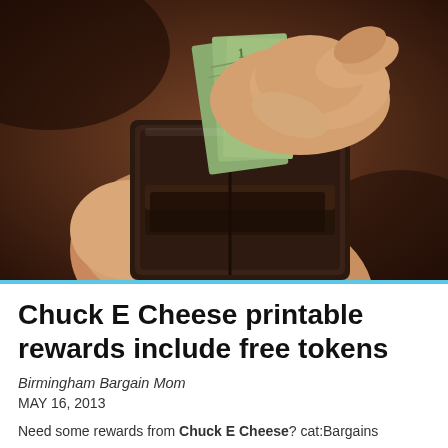[Figure (photo): Close-up photograph of a person's hands holding an open dark leather wallet, pulling out dollar bills. The background is dark brown/reddish-bokeh.]
Chuck E Cheese printable rewards include free tokens
Birmingham Bargain Mom
MAY 16, 2013
Need some rewards from Chuck E Cheese? cat:Bargains